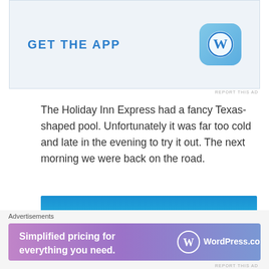[Figure (other): WordPress 'GET THE APP' advertisement banner with WordPress logo icon on blue gradient background]
The Holiday Inn Express had a fancy Texas-shaped pool. Unfortunately it was far too cold and late in the evening to try it out. The next morning we were back on the road.
[Figure (photo): Landscape photo showing a rocky mountain peak against a bright blue sky, likely in Big Bend or similar Texas/Southwest location]
[Figure (other): WordPress.com advertisement banner: 'Simplified pricing for everything you need.' with WordPress logo and WordPress.com text on purple/pink gradient]